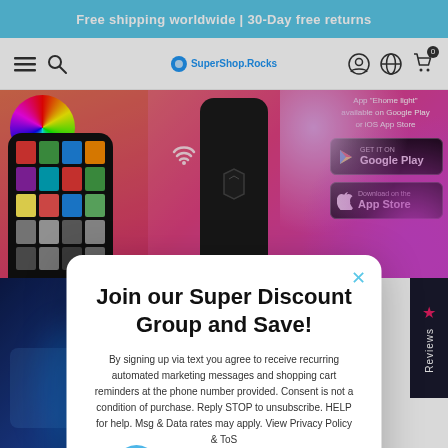Free shipping worldwide | 30-Day free returns
[Figure (screenshot): E-commerce shop navigation bar with hamburger menu, search icon, SuperShop.Rocks logo, account icon, globe icon, and cart with 0 badge]
[Figure (photo): Product banner showing RGB smart home controller with phone app, Bluetooth device, and app store download badges for Google Play and App Store. App 'Ehome light' available on Google Play or iOS App Store.]
[Figure (photo): Bottom left product image showing smart LED light in dark blue room]
[Figure (infographic): Reviews sidebar tab with pink star icon on dark navy background]
ts via r, you colors.
[Figure (infographic): Modal popup with rocket illustration. Title: Join our Super Discount Group and Save! Body text: By signing up via text you agree to receive recurring automated marketing messages and shopping cart reminders at the phone number provided. Consent is not a condition of purchase. Reply STOP to unsubscribe. HELP for help. Msg & Data rates may apply. View Privacy Policy & ToS. Button: click to subscribe]